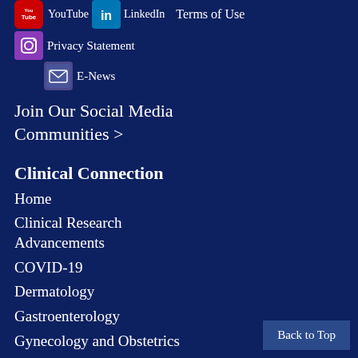[Figure (other): Social media icons row: YouTube icon, LinkedIn icon with text 'Terms of Use']
Privacy Statement
[Figure (other): Social media icons: Instagram icon, Email/E-News icon with label 'E-News']
Join Our Social Media Communities >
Clinical Connection
Home
Clinical Research Advancements
COVID-19
Dermatology
Gastroenterology
Gynecology and Obstetrics
Health Care Technology
Heart and Vascular
High-Value Health Care
Neurology and Neurosurgery
Back to Top